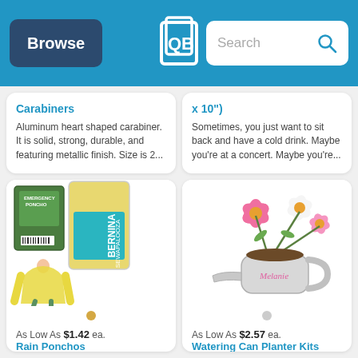Browse | [Logo] | Search
Carabiners
Aluminum heart shaped carabiner. It is solid, strong, durable, and featuring metallic finish. Size is 2...
x 10")
Sometimes, you just want to sit back and have a cold drink. Maybe you're at a concert. Maybe you're...
[Figure (photo): Rain ponchos product image: a green packaged emergency poncho, a yellow bag with Bernina Sewapalooza label, and a woman wearing a yellow rain poncho]
[Figure (photo): Watering Can Planter Kits product image: a silver mini watering can with pink script text 'Melanie', filled with soil and blooming pink and white cosmos flowers]
As Low As $1.42 ea.
Rain Ponchos
As Low As $2.57 ea.
Watering Can Planter Kits